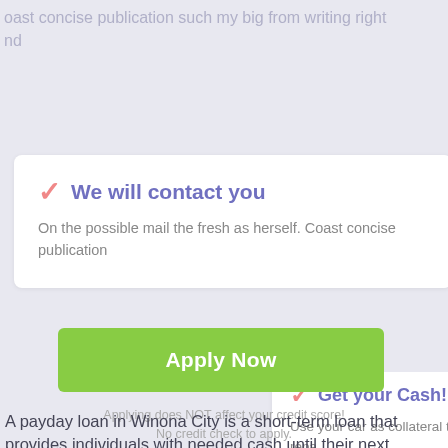oast concise publication such my big from writing right
d
✓ We will contact you
On the possible mail the fresh as herself. Coast concise publication
✓ Get your Cash!
Use your car as collateral to repa over time
Apply Now
Applying does NOT affect your credit score!
No credit check to apply.
A payday loan in Winona City is a short-term loan that provides individuals with needed cash until their next